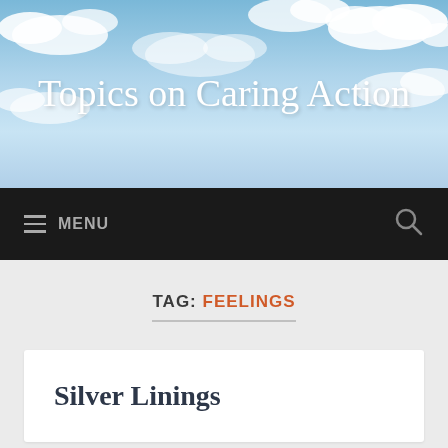[Figure (illustration): Sky background with white clouds and blue sky behind the site title]
Topics on Caring Action
≡ MENU  🔍
TAG: FEELINGS
Silver Linings